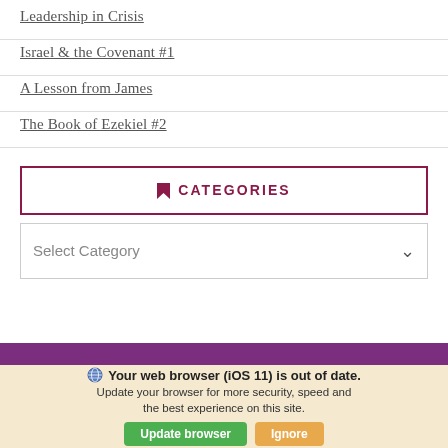Leadership in Crisis
Israel & the Covenant #1
A Lesson from James
The Book of Ezekiel #2
CATEGORIES
Select Category
Your web browser (iOS 11) is out of date. Update your browser for more security, speed and the best experience on this site.